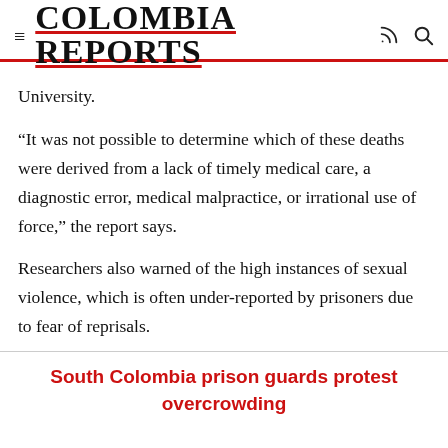COLOMBIA REPORTS
University.
“It was not possible to determine which of these deaths were derived from a lack of timely medical care, a diagnostic error, medical malpractice, or irrational use of force,” the report says.
Researchers also warned of the high instances of sexual violence, which is often under-reported by prisoners due to fear of reprisals.
South Colombia prison guards protest overcrowding